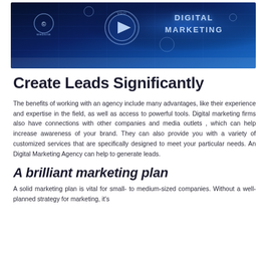[Figure (photo): Digital marketing themed banner image with dark blue background, circular icons, play button, and 'DIGITAL MARKETING' text in glowing style]
Create Leads Significantly
The benefits of working with an agency include many advantages, like their experience and expertise in the field, as well as access to powerful tools. Digital marketing firms also have connections with other companies and media outlets , which can help increase awareness of your brand. They can also provide you with a variety of customized services that are specifically designed to meet your particular needs. An Digital Marketing Agency can help to generate leads.
A brilliant marketing plan
A solid marketing plan is vital for small- to medium-sized companies. Without a well-planned strategy for marketing, it's